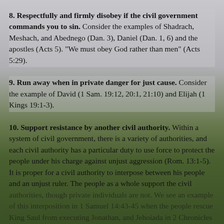8. Respectfully and firmly disobey if the civil government commands you to sin. Consider the examples of Shadrach, Meshach, and Abednego (Dan. 3), Daniel (Dan. 1, 6) and the apostles (Acts 5). "We must obey God rather than men" (Acts 5:29).
9. Run away when in private danger for just cause. Consider the example of David (1 Sam. 19:12, 20:1, 21:10) and Elijah (1 Kings 19:1-3).
10. Support resistance by another civil authority. Within a system of civil government, there is a variety of authorities, and each civil authority has a particular duty to use force to protect the people under his charge against unjust aggression (Rom. 13:1-5). It is proper for a civil authority to interpose between his people and an unjust ruler. The people as a whole support the civil authorities, though private individuals are not. We see an example of this interposition in 1 Samuel 14:43-45 when the people rescue King Saul from executing Jonathan, and Jehoiada in 2 Chronicles 23:1-2, he and the commanders and heads of the people protected King Joash against Queen Athaliah the usurper. Because